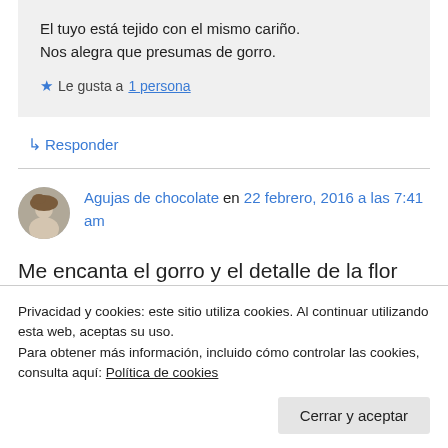El tuyo está tejido con el mismo cariño.
Nos alegra que presumas de gorro.
★ Le gusta a 1 persona
↳ Responder
Agujas de chocolate en 22 febrero, 2016 a las 7:41 am
Me encanta el gorro y el detalle de la flor
Privacidad y cookies: este sitio utiliza cookies. Al continuar utilizando esta web, aceptas su uso.
Para obtener más información, incluido cómo controlar las cookies, consulta aquí: Política de cookies
Cerrar y aceptar